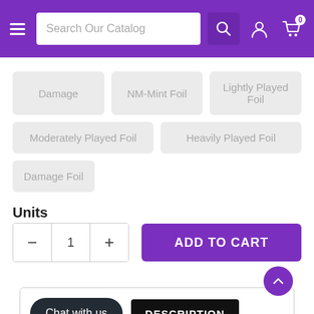Search Our Catalog
Damage
NM-Mint Foil
Lightly Played Foil
Moderately Played Foil
Heavily Played Foil
Damage Foil
Units
ADD TO CART
Chat with us
DESCRIPTION
| Set: | Unstable |
| --- | --- |